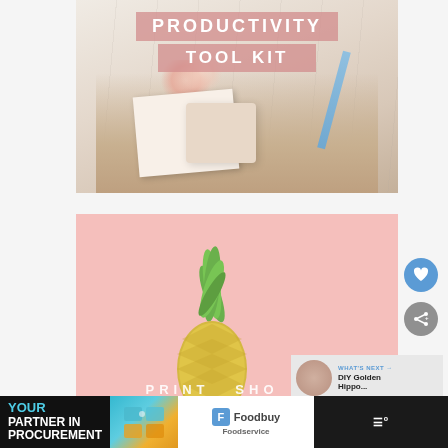[Figure (photo): Productivity Tool Kit flat lay photo showing a laptop, planners, flowers, and stationery items on a marble surface, with pink banner overlays reading PRODUCTIVITY and TOOL KIT]
[Figure (photo): Pink background photo with a pineapple in the center and white text at bottom reading PRINT SHOP]
[Figure (screenshot): Social media UI overlay showing heart (like) button in blue circle and share button in gray circle on the right side]
WHAT'S NEXT → DIY Golden Hippo...
[Figure (infographic): Advertisement banner at bottom: black background with cyan and white text reading YOUR PARTNER IN PROCUREMENT, puzzle piece graphic, Foodbuy Foodservice logo on white panel, and menu icon on right]